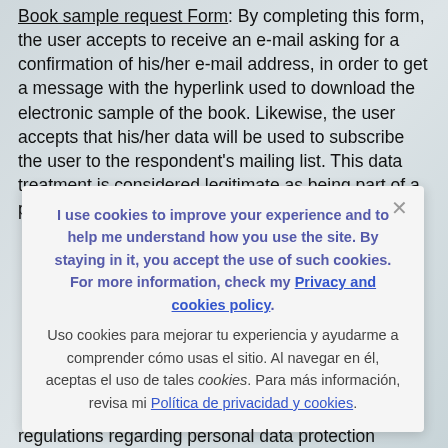Book sample request Form: By completing this form, the user accepts to receive an e-mail asking for a confirmation of his/her e-mail address, in order to get a message with the hyperlink used to download the electronic sample of the book. Likewise, the user accepts that his/her data will be used to subscribe the user to the respondent's mailing list. This data treatment is considered legitimate as being part of a pre-contractual
I use cookies to improve your experience and to help me understand how you use the site. By staying in it, you accept the use of such cookies. For more information, check my Privacy and cookies policy. Uso cookies para mejorar tu experiencia y ayudarme a comprender cómo usas el sitio. Al navegar en él, aceptas el uso de tales cookies. Para más información, revisa mi Política de privacidad y cookies.
regulations regarding personal data protection